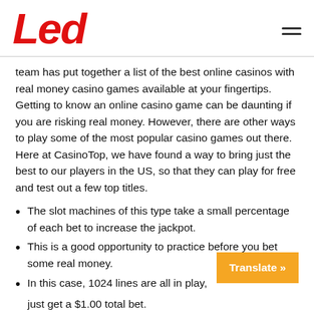Led
team has put together a list of the best online casinos with real money casino games available at your fingertips. Getting to know an online casino game can be daunting if you are risking real money. However, there are other ways to play some of the most popular casino games out there. Here at CasinoTop, we have found a way to bring just the best to our players in the US, so that they can play for free and test out a few top titles.
The slot machines of this type take a small percentage of each bet to increase the jackpot.
This is a good opportunity to practice before you bet some real money.
In this case, 1024 lines are all in play,
just get a $1.00 total bet.